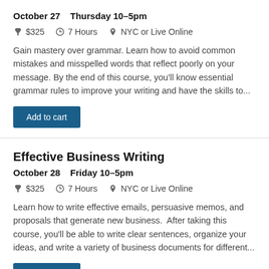October 27   Thursday 10–5pm
🏷 $325  🕐 7 Hours  📍 NYC or Live Online
Gain mastery over grammar. Learn how to avoid common mistakes and misspelled words that reflect poorly on your message. By the end of this course, you'll know essential grammar rules to improve your writing and have the skills to...
Add to cart
Effective Business Writing
October 28   Friday 10–5pm
🏷 $325  🕐 7 Hours  📍 NYC or Live Online
Learn how to write effective emails, persuasive memos, and proposals that generate new business.  After taking this course, you'll be able to write clear sentences, organize your ideas, and write a variety of business documents for different...
Add to cart